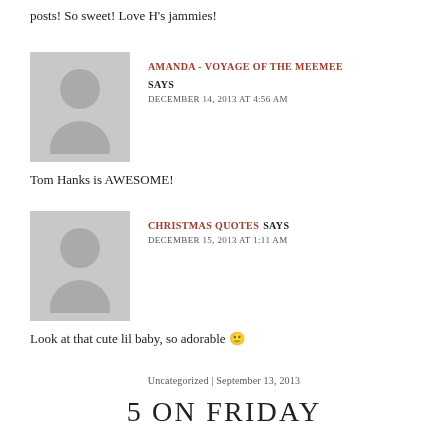posts! So sweet! Love H's jammies!
AMANDA - VOYAGE OF THE MEEMEE SAYS
DECEMBER 14, 2013 AT 4:56 AM
Tom Hanks is AWESOME!
CHRISTMAS QUOTES SAYS
DECEMBER 15, 2013 AT 1:11 AM
Look at that cute lil baby, so adorable 🙂
Uncategorized | September 13, 2013
5 ON FRIDAY